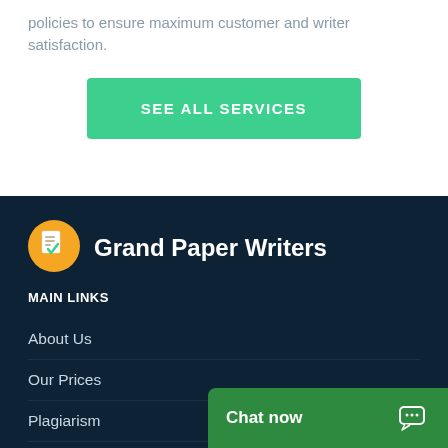policies to ensure maximum customer and writer satisfaction.
SEE ALL SERVICES
[Figure (logo): Grand Paper Writers logo — yellow/orange circle with a document/checkmark icon]
Grand Paper Writers
MAIN LINKS
About Us
Our Prices
Plagiarism
Services
Chat now